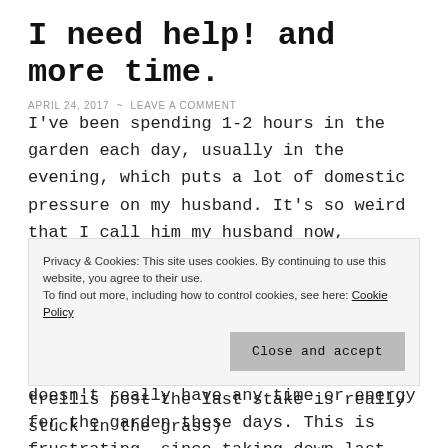I need help! and more time.
APRIL 24, 2017  ~  LEAVE A COMMENT
I've been spending 1-2 hours in the garden each day, usually in the evening, which puts a lot of domestic pressure on my husband. It's so weird that I call him my husband now, because I fully intended to always call him my partner. Things are a bit more conservative here in Sonoma County, as compared to where we got married – in Oakland. Anyhow, he doesn't really have any time or energy for the garden these days. This is frustrating, since taking down last
Privacy & Cookies: This site uses cookies. By continuing to use this website, you agree to their use.
To find out more, including how to control cookies, see here: Cookie Policy
Close and accept
trellis post the last stake is really stuck in the grass)